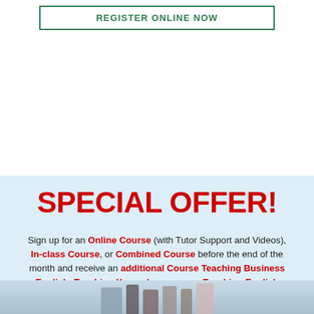REGISTER ONLINE NOW
SPECIAL OFFER!
Sign up for an Online Course (with Tutor Support and Videos), In-class Course, or Combined Course before the end of the month and receive an additional Course Teaching Business English, Teaching Young Learners, or Teaching English Online free of charge. Certificate included.